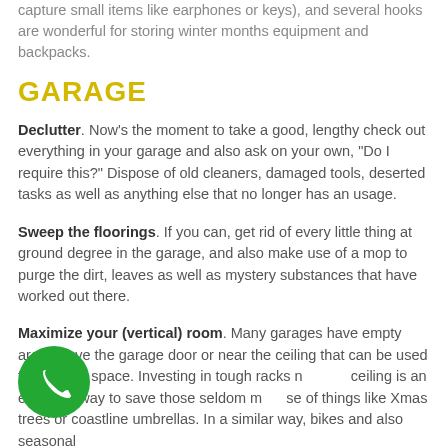capture small items like earphones or keys), and several hooks are wonderful for storing winter months equipment and backpacks.
GARAGE
Declutter. Now's the moment to take a good, lengthy check out everything in your garage and also ask on your own, "Do I require this?" Dispose of old cleaners, damaged tools, deserted tasks as well as anything else that no longer has an usage.
Sweep the floorings. If you can, get rid of every little thing at ground degree in the garage, and also make use of a mop to purge the dirt, leaves as well as mystery substances that have worked out there.
Maximize your (vertical) room. Many garages have empty area above the garage door or near the ceiling that can be used for storage space. Investing in tough racks near the ceiling is an excellent way to save those seldom made use of things like Xmas trees or coastline umbrellas. In a similar way, bikes and also seasonal
[Figure (other): Green circular phone/call button icon in the bottom left area of the page]